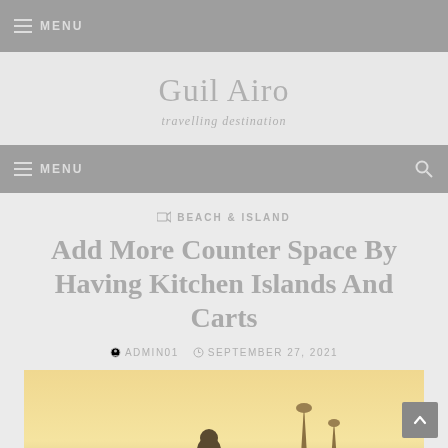MENU
Guil Airo
travelling destination
MENU
BEACH & ISLAND
Add More Counter Space By Having Kitchen Islands And Carts
ADMIN01  SEPTEMBER 27, 2021
[Figure (photo): A warm golden-toned photo of a silhouetted person sitting at a scenic viewpoint, with pagoda-like structures visible in the background against a glowing sky.]